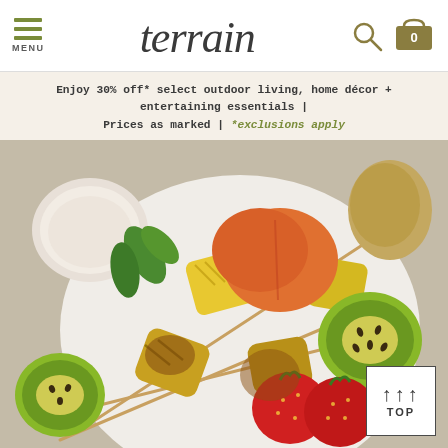terrain — MENU, logo, search, cart
Enjoy 30% off* select outdoor living, home décor + entertaining essentials | Prices as marked | *exclusions apply
[Figure (photo): Overhead close-up of grilled fruit skewers on a white plate — pineapple, strawberries, kiwi, peaches, banana — with a small white bowl of cream dip and fresh mint leaves. Wooden bamboo skewers visible.]